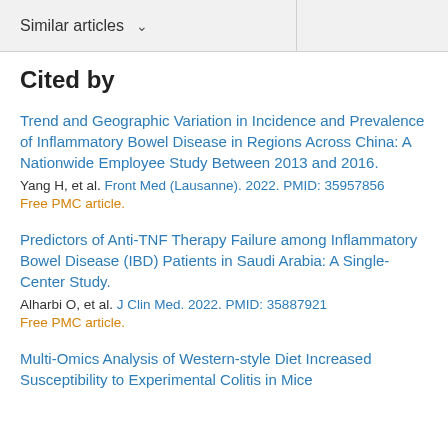Similar articles ∨
Cited by
Trend and Geographic Variation in Incidence and Prevalence of Inflammatory Bowel Disease in Regions Across China: A Nationwide Employee Study Between 2013 and 2016.
Yang H, et al. Front Med (Lausanne). 2022. PMID: 35957856
Free PMC article.
Predictors of Anti-TNF Therapy Failure among Inflammatory Bowel Disease (IBD) Patients in Saudi Arabia: A Single-Center Study.
Alharbi O, et al. J Clin Med. 2022. PMID: 35887921
Free PMC article.
Multi-Omics Analysis of Western-style Diet Increased Susceptibility to Experimental Colitis in Mice